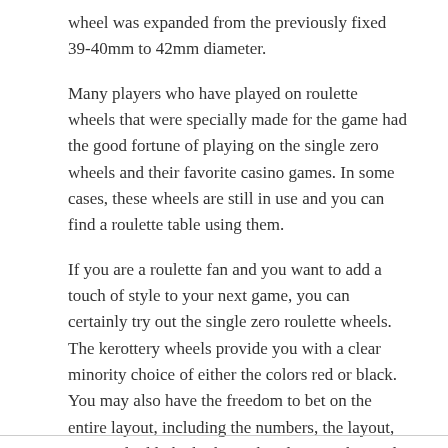wheel was expanded from the previously fixed 39-40mm to 42mm diameter.
Many players who have played on roulette wheels that were specially made for the game had the good fortune of playing on the single zero wheels and their favorite casino games. In some cases, these wheels are still in use and you can find a roulette table using them.
If you are a roulette fan and you want to add a touch of style to your next game, you can certainly try out the single zero roulette wheels. The kerottery wheels provide you with a clear minority choice of either the colors red or black. You may also have the freedom to bet on the entire layout, including the numbers, the layout, even and odd, the high number, low number and only the high number.